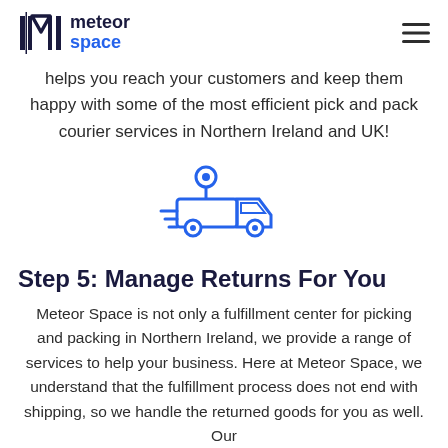meteor space
helps you reach your customers and keep them happy with some of the most efficient pick and pack courier services in Northern Ireland and UK!
[Figure (illustration): Blue outline icon of a delivery truck with a location pin above it and motion lines, indicating courier/shipping service]
Step 5: Manage Returns For You
Meteor Space is not only a fulfillment center for picking and packing in Northern Ireland, we provide a range of services to help your business. Here at Meteor Space, we understand that the fulfillment process does not end with shipping, so we handle the returned goods for you as well. Our